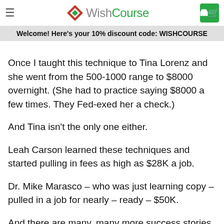WishCourse — navigation header with logo and cart
Welcome! Here's your 10% discount code: WISHCOURSE
Once I taught this technique to Tina Lorenz and she went from the 500-1000 range to $8000 overnight. (She had to practice saying $8000 a few times. They Fed-exed her a check.)
And Tina isn't the only one either.
Leah Carson learned these techniques and started pulling in fees as high as $28K a job.
Dr. Mike Marasco – who was just learning copy – pulled in a job for nearly – ready – $50K.
And there are many, many more success stories.
But here's the deal breaker – if this doesn't get you to order –